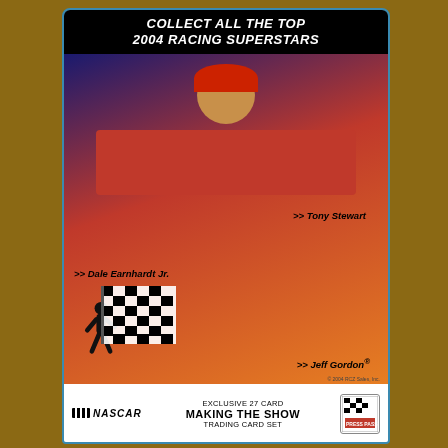[Figure (photo): NASCAR 2004 trading card tin showing three drivers: Tony Stewart, Dale Earnhardt Jr., and Jeff Gordon on a blue tin with yellow diamond shapes and a checkered flag silhouette at the bottom.]
COLLECT ALL THE TOP 2004 RACING SUPERSTARS
>> Tony Stewart
>> Dale Earnhardt Jr.
>> Jeff Gordon®
EXCLUSIVE 27 CARD MAKING THE SHOW TRADING CARD SET
LIMITED EDITION